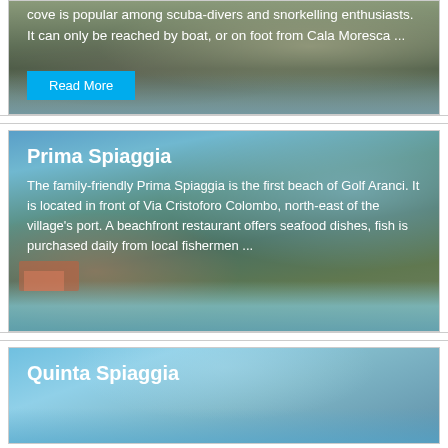[Figure (photo): Partial beach/cove photo with white text overlay describing a cove popular among scuba-divers and snorkelling enthusiasts, reachable only by boat or on foot from Cala Moresca. A cyan 'Read More' button is visible at the bottom left.]
[Figure (photo): Photo of Prima Spiaggia beach at Golf Aranci with mountains in the background, blue-green sea, and colorful buildings along the shore. White text overlay with bold title 'Prima Spiaggia' and description text.]
Prima Spiaggia
The family-friendly Prima Spiaggia is the first beach of Golf Aranci. It is located in front of Via Cristoforo Colombo, north-east of the village's port. A beachfront restaurant offers seafood dishes, fish is purchased daily from local fishermen ...
[Figure (photo): Partial photo of Quinta Spiaggia beach with blue sky and sea. White bold text 'Quinta Spiaggia' overlaid at top left.]
Quinta Spiaggia